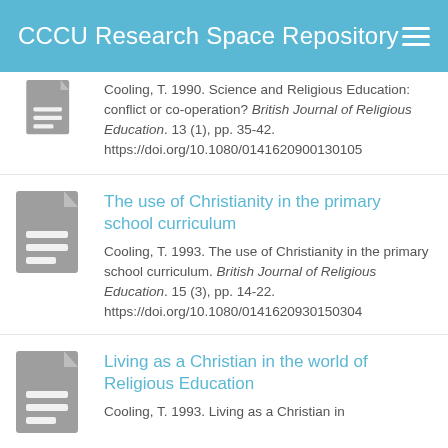CCCU Research Space Repository
Cooling, T. 1990. Science and Religious Education: conflict or co-operation? British Journal of Religious Education. 13 (1), pp. 35-42. https://doi.org/10.1080/0141620900130105
The use of Christianity in the primary school curriculum
Cooling, T. 1993. The use of Christianity in the primary school curriculum. British Journal of Religious Education. 15 (3), pp. 14-22. https://doi.org/10.1080/0141620930150304
Living as a Christian in the world of Religious Education
Cooling, T. 1993. Living as a Christian in